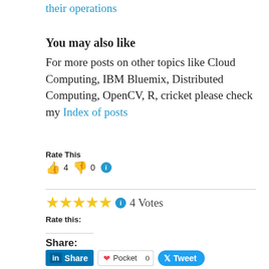their operations
You may also like
For more posts on other topics like Cloud Computing, IBM Bluemix, Distributed Computing, OpenCV, R, cricket please check my Index of posts
Rate This
👍 4 👎 0 ℹ
[Figure (other): 5 gold stars rating widget with info icon, showing 4 Votes]
Rate this:
Share:
[Figure (other): Share buttons: LinkedIn Share, Pocket with count 0, Twitter Tweet]